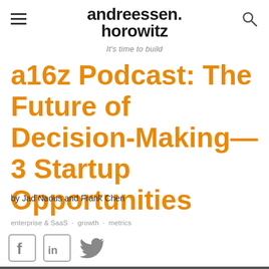andreessen. horowitz — It's time to build
a16z Podcast: The Future of Decision-Making—3 Startup Opportunities
by Jad Naous and Frank Chen
enterprise & SaaS · growth · metrics